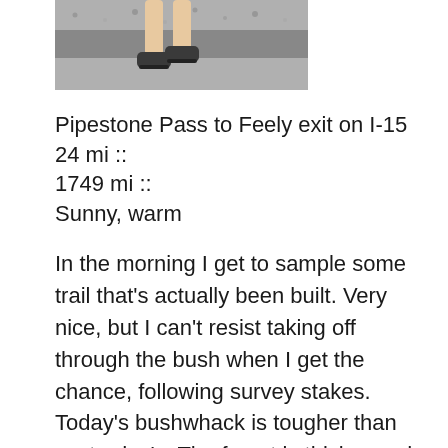[Figure (photo): Partial photo showing legs/feet in athletic shoes on a gravel or paved surface, cropped at top of page]
Pipestone Pass to Feely exit on I-15
24 mi ::
1749 mi ::
Sunny, warm
In the morning I get to sample some trail that's actually been built. Very nice, but I can't resist taking off through the bush when I get the chance, following survey stakes. Today's bushwhack is tougher than yesterday's. The forest is thicker and there's no fresh, orange paint. Still, I enjoy a few hours of this engaging work.